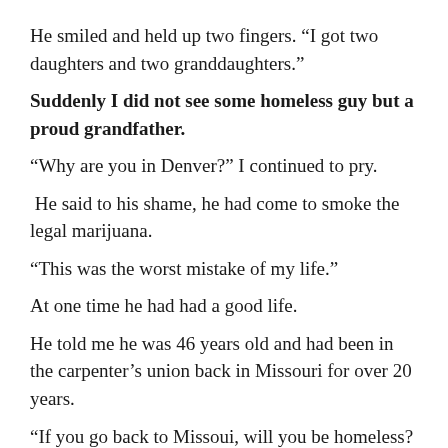He smiled and held up two fingers. “I got two daughters and two granddaughters.”
Suddenly I did not see some homeless guy but a proud grandfather.
“Why are you in Denver?” I continued to pry.
He said to his shame, he had come to smoke the legal marijuana.
“This was the worst mistake of my life.”
At one time he had had a good life.
He told me he was 46 years old and had been in the carpenter’s union back in Missouri for over 20 years.
“If you go back to Missoui, will you be homeless?
This time his eyes reached mine. “No. Of course not.”
As we continued to talk, he explained that he had tried heroin three months ago and died. Paramedics brought